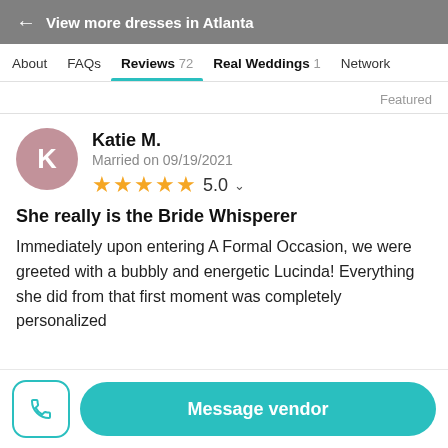← View more dresses in Atlanta
About   FAQs   Reviews 72   Real Weddings 1   Network
Featured
Katie M.
Married on 09/19/2021
★★★★★ 5.0
She really is the Bride Whisperer
Immediately upon entering A Formal Occasion, we were greeted with a bubbly and energetic Lucinda! Everything she did from that first moment was completely personalized
Message vendor